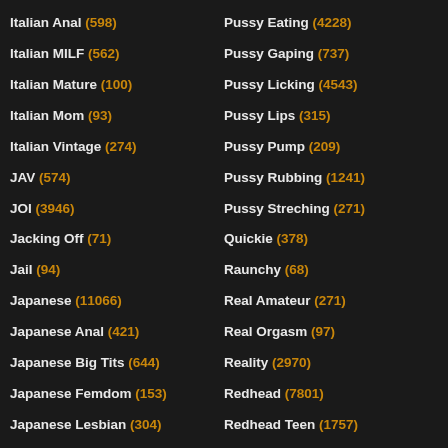Italian Anal (598)
Italian MILF (562)
Italian Mature (100)
Italian Mom (93)
Italian Vintage (274)
JAV (574)
JOI (3946)
Jacking Off (71)
Jail (94)
Japanese (11066)
Japanese Anal (421)
Japanese Big Tits (644)
Japanese Femdom (153)
Japanese Lesbian (304)
Japanese MILF (1384)
Pussy Eating (4228)
Pussy Gaping (737)
Pussy Licking (4543)
Pussy Lips (315)
Pussy Pump (209)
Pussy Rubbing (1241)
Pussy Streching (271)
Quickie (378)
Raunchy (68)
Real Amateur (271)
Real Orgasm (97)
Reality (2970)
Redhead (7801)
Redhead Teen (1757)
Retro (2364)